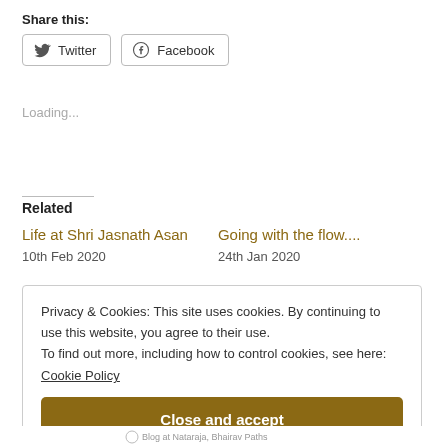Share this:
[Figure (other): Twitter and Facebook share buttons with icons]
Loading...
Related
Life at Shri Jasnath Asan
10th Feb 2020
Going with the flow....
24th Jan 2020
Privacy & Cookies: This site uses cookies. By continuing to use this website, you agree to their use.
To find out more, including how to control cookies, see here:
Cookie Policy
Close and accept
Blog at Nataraja, Bhairav Paths